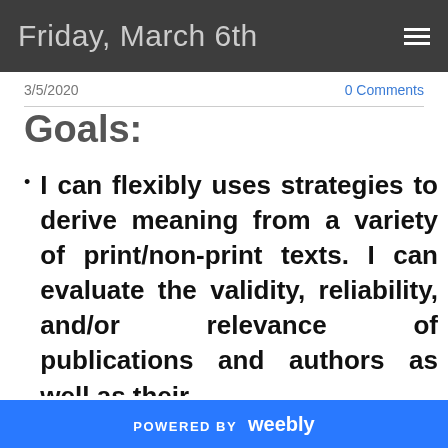Friday, March 6th
3/5/2020
0 Comments
Goals:
I can flexibly uses strategies to derive meaning from a variety of print/non-print texts. I can evaluate the validity, reliability, and/or relevance of publications and authors as well as their
POWERED BY weebly